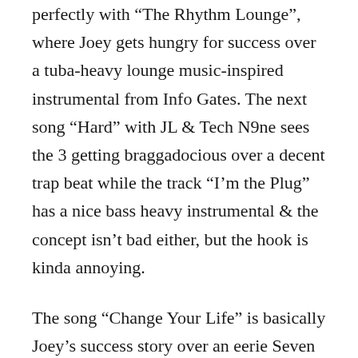perfectly with “The Rhythm Lounge”, where Joey gets hungry for success over a tuba-heavy lounge music-inspired instrumental from Info Gates. The next song “Hard” with JL & Tech N9ne sees the 3 getting braggadocious over a decent trap beat while the track “I’m the Plug” has a nice bass heavy instrumental & the concept isn’t bad either, but the hook is kinda annoying.
The song “Change Your Life” is basically Joey’s success story over an eerie Seven instrumental while the track “Under Pressure” is about how he’ll never fold over some horns. The song “Handle of Jack” is an ode to alcohol over a relaxing beat and the track “Fall” is about Joey staying up when people try to bring him down over an atmospheric trap beat from Seven with some rubbery bass. The song “Divine” is a smooth sex